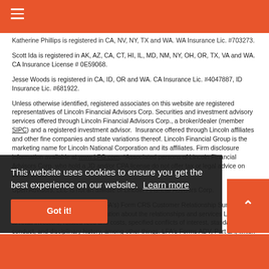Katherine Phillips is registered in CA, NV, NY, TX and WA. WA Insurance Lic. #703273.
Scott Ida is registered in AK, AZ, CA, CT, HI, IL, MD, NM, NY, OH, OR, TX, VA and WA. CA Insurance License # 0E59068.
Jesse Woods is registered in CA, ID, OR and WA. CA Insurance Lic. #4047887, ID Insurance Lic. #681922.
Unless otherwise identified, registered associates on this website are registered representatives of Lincoln Financial Advisors Corp. Securities and investment advisory services offered through Lincoln Financial Advisors Corp., a broker/dealer (member SIPC) and a registered investment advisor. Insurance offered through Lincoln affiliates and other fine companies and state variations thereof. Lincoln Financial Group is the marketing name for Lincoln National Corporation and its affiliates. Firm disclosure information available at www.LFG.com. *Associated persons of Lincoln Financial Advisors Corp. who hold a JD and/or CPA license do not offer tax or legal advice on behalf of the firm.
Open Advisors, LLC is not an affiliate of Lincoln Financial Advisors Corp.
See Lincoln Financial Advisors (LFA's) Form CRS Customer Relationship Summary, available here, for succinct information about the relationships and services LFA offers to retail investors, related fees and costs, specified conflicts of interest, standards of conduct, and disciplinary history, among other things. LFA's Forms ADV, Part 2A, which describe LFA's investment advisory services, Regulation Best Interest Disclosure Document, which describes LFA's broker-dealer services, and other client disclosure documents can
This website uses cookies to ensure you get the best experience on our website. Learn more
Got it!